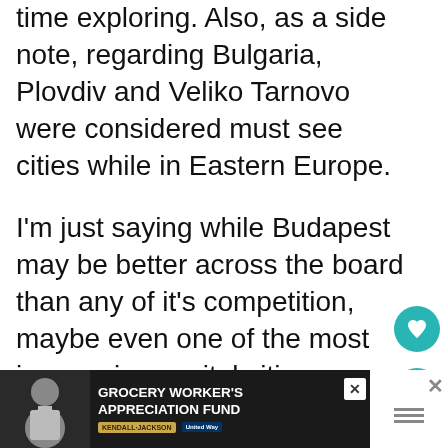time exploring. Also, as a side note, regarding Bulgaria, Plovdiv and Veliko Tarnovo were considered must see cities while in Eastern Europe.
I'm just saying while Budapest may be better across the board than any of it's competition, maybe even one of the most impressive capital cities across Europe, that you're right in saying that Bucharest can't really compare. Bucharest is just
[Figure (other): Teal circular button with heart/favorite icon on the right side of the page]
[Figure (other): Teal circular button with share icon on the right side of the page]
[Figure (other): Advertisement banner at the bottom: GROCERY WORKER'S APPRECIATION FUND with Kendall-Jackson and United Way logos. Person in apron on the left. Close button on right.]